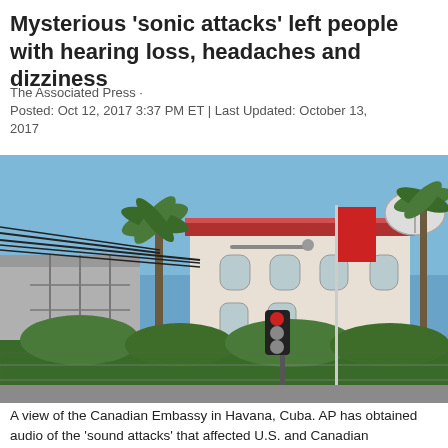Mysterious 'sonic attacks' left people with hearing loss, headaches and dizziness
The Associated Press · Posted: Oct 12, 2017 3:37 PM ET | Last Updated: October 13, 2017
[Figure (photo): A street-level view of the Canadian Embassy in Havana, Cuba, with palm trees, power lines, traffic lights, a flagpole with a red flag, and a white colonial-style building with a red tile roof and satellite dish visible in the background.]
A view of the Canadian Embassy in Havana, Cuba. AP has obtained audio of the 'sound attacks' that affected U.S. and Canadian diplomats in Cuba. (Franklin Reyes/Associated Press)